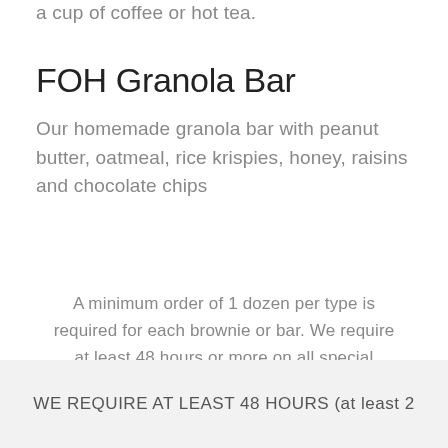a cup of coffee or hot tea.
FOH Granola Bar
Our homemade granola bar with peanut butter, oatmeal, rice krispies, honey, raisins and chocolate chips
A minimum order of 1 dozen per type is required for each brownie or bar. We require at least 48 hours or more on all special orders.
WE REQUIRE AT LEAST 48 HOURS (at least 2